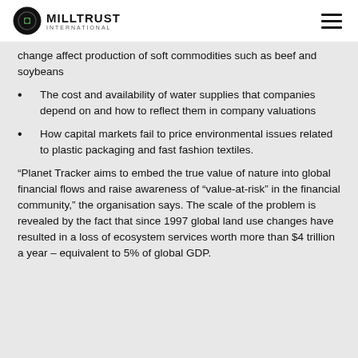MILLTRUST INTERNATIONAL
change affect production of soft commodities such as beef and soybeans
The cost and availability of water supplies that companies depend on and how to reflect them in company valuations
How capital markets fail to price environmental issues related to plastic packaging and fast fashion textiles.
“Planet Tracker aims to embed the true value of nature into global financial flows and raise awareness of “value-at-risk” in the financial community,” the organisation says. The scale of the problem is revealed by the fact that since 1997 global land use changes have resulted in a loss of ecosystem services worth more than $4 trillion a year – equivalent to 5% of global GDP.